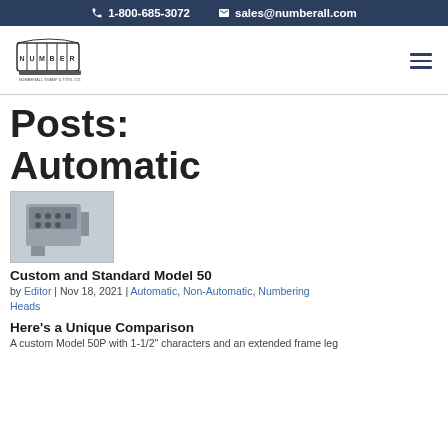1-800-685-3072   sales@numberall.com
[Figure (logo): Numberall logo — cylindrical numbering wheel device with NUMBERALL text]
Posts:
Automatic
[Figure (photo): Photo of a custom/standard Model 50 numbering machine, metallic industrial device with buttons and frame]
Custom and Standard Model 50
by Editor | Nov 18, 2021 | Automatic, Non-Automatic, Numbering Heads
Here's a Unique Comparison
A custom Model 50P with 1-1/2" characters and an extended frame leg